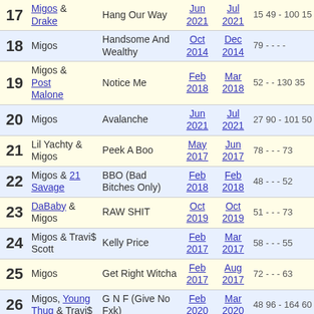| # | Artist | Song | From | To | Stats |
| --- | --- | --- | --- | --- | --- |
| 17 | Migos & Drake | Hang Our Way | Jun 2021 | Jul 2021 | 15 49 - 100 15 |
| 18 | Migos | Handsome And Wealthy | Oct 2014 | Dec 2014 | 79 - - - - |
| 19 | Migos & Post Malone | Notice Me | Feb 2018 | Mar 2018 | 52 - - 130 35 |
| 20 | Migos | Avalanche | Jun 2021 | Jul 2021 | 27 90 - 101 50 |
| 21 | Lil Yachty & Migos | Peek A Boo | May 2017 | Jun 2017 | 78 - - - 73 |
| 22 | Migos & 21 Savage | BBO (Bad Bitches Only) | Feb 2018 | Feb 2018 | 48 - - - 52 |
| 23 | DaBaby & Migos | RAW SHIT | Oct 2019 | Oct 2019 | 51 - - - 73 |
| 24 | Migos & Travi$ Scott | Kelly Price | Feb 2017 | Mar 2017 | 58 - - - 55 |
| 25 | Migos | Get Right Witcha | Feb 2017 | Aug 2017 | 72 - - - 63 |
| 26 | Migos, Young Thug & Travi$ | G N F (Give No Fxk) | Feb 2020 | Mar 2020 | 48 96 - 164 60 |